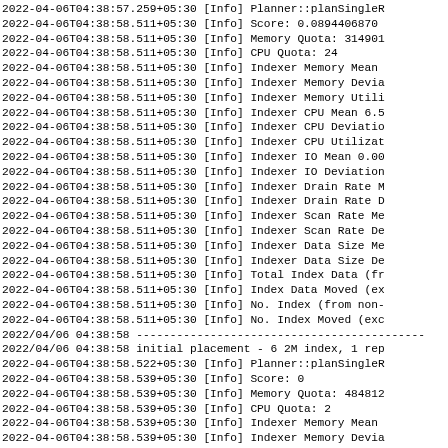2022-04-06T04:38:57.259+05:30 [Info] Planner::planSingleR
2022-04-06T04:38:58.511+05:30 [Info] Score: 0.0894406870
2022-04-06T04:38:58.511+05:30 [Info] Memory Quota: 314901
2022-04-06T04:38:58.511+05:30 [Info] CPU Quota: 24
2022-04-06T04:38:58.511+05:30 [Info] Indexer Memory Mean
2022-04-06T04:38:58.511+05:30 [Info] Indexer Memory Devia
2022-04-06T04:38:58.511+05:30 [Info] Indexer Memory Utili
2022-04-06T04:38:58.511+05:30 [Info] Indexer CPU Mean 6.5
2022-04-06T04:38:58.511+05:30 [Info] Indexer CPU Deviatio
2022-04-06T04:38:58.511+05:30 [Info] Indexer CPU Utilizat
2022-04-06T04:38:58.511+05:30 [Info] Indexer IO Mean 0.00
2022-04-06T04:38:58.511+05:30 [Info] Indexer IO Deviation
2022-04-06T04:38:58.511+05:30 [Info] Indexer Drain Rate M
2022-04-06T04:38:58.511+05:30 [Info] Indexer Drain Rate D
2022-04-06T04:38:58.511+05:30 [Info] Indexer Scan Rate Me
2022-04-06T04:38:58.511+05:30 [Info] Indexer Scan Rate De
2022-04-06T04:38:58.511+05:30 [Info] Indexer Data Size Me
2022-04-06T04:38:58.511+05:30 [Info] Indexer Data Size De
2022-04-06T04:38:58.511+05:30 [Info] Total Index Data (fr
2022-04-06T04:38:58.511+05:30 [Info] Index Data Moved (ex
2022-04-06T04:38:58.511+05:30 [Info] No. Index (from non-
2022-04-06T04:38:58.511+05:30 [Info] No. Index Moved (exc
2022/04/06 04:38:58 -------------------------------------------
2022/04/06 04:38:58 initial placement - 6 2M index, 1 rep
2022-04-06T04:38:58.522+05:30 [Info] Planner::planSingleR
2022-04-06T04:38:58.539+05:30 [Info] Score: 0
2022-04-06T04:38:58.539+05:30 [Info] Memory Quota: 484812
2022-04-06T04:38:58.539+05:30 [Info] CPU Quota: 2
2022-04-06T04:38:58.539+05:30 [Info] Indexer Memory Mean
2022-04-06T04:38:58.539+05:30 [Info] Indexer Memory Devia